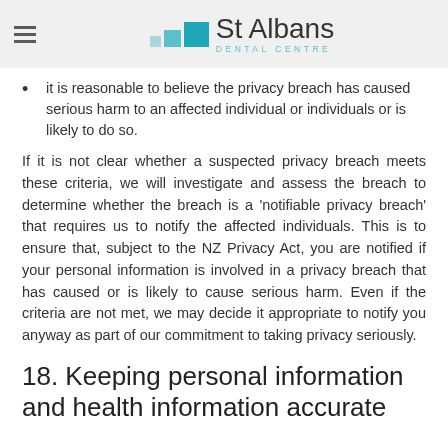St Albans Dental Centre
it is reasonable to believe the privacy breach has caused serious harm to an affected individual or individuals or is likely to do so.
If it is not clear whether a suspected privacy breach meets these criteria, we will investigate and assess the breach to determine whether the breach is a 'notifiable privacy breach' that requires us to notify the affected individuals. This is to ensure that, subject to the NZ Privacy Act, you are notified if your personal information is involved in a privacy breach that has caused or is likely to cause serious harm. Even if the criteria are not met, we may decide it appropriate to notify you anyway as part of our commitment to taking privacy seriously.
18. Keeping personal information and health information accurate